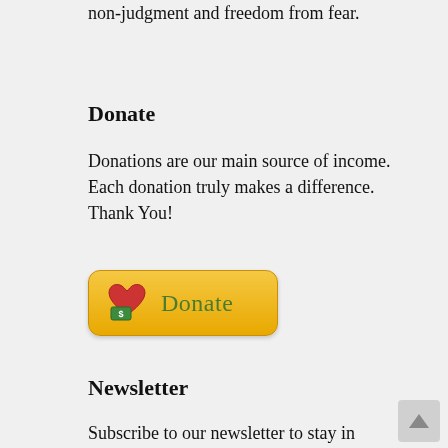non-judgment and freedom from fear.
Donate
Donations are our main source of income. Each donation truly makes a difference. Thank You!
[Figure (other): A PayPal-style donate button with a red heart and green money icon on an orange-yellow gradient background, labeled 'Donate' in dark green text.]
Newsletter
Subscribe to our newsletter to stay in